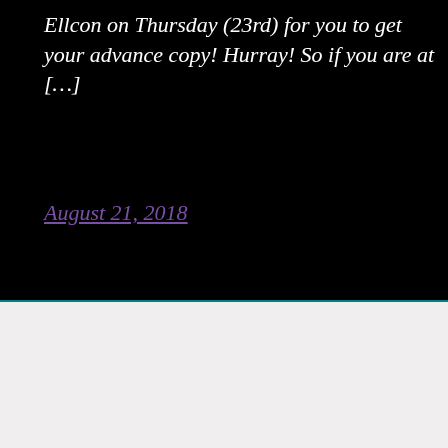Ellcon on Thursday (23rd) for you to get your advance copy! Hurray! So if you are at […]
August 21, 2018
Please email for correct mailing prices for international customers as it may be less than the default price
Dismiss